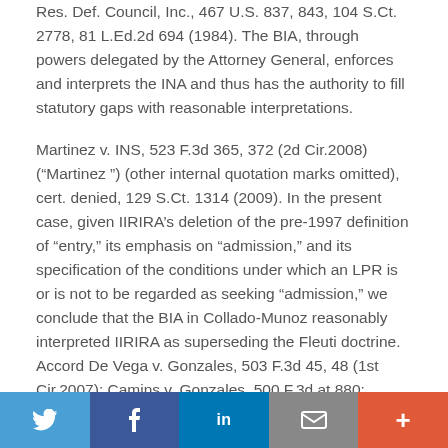Res. Def. Council, Inc., 467 U.S. 837, 843, 104 S.Ct. 2778, 81 L.Ed.2d 694 (1984). The BIA, through powers delegated by the Attorney General, enforces and interprets the INA and thus has the authority to fill statutory gaps with reasonable interpretations.
Martinez v. INS, 523 F.3d 365, 372 (2d Cir.2008) (“Martinez ”) (other internal quotation marks omitted), cert. denied, 129 S.Ct. 1314 (2009). In the present case, given IIRIRA’s deletion of the pre-1997 definition of “entry,” its emphasis on “admission,” and its specification of the conditions under which an LPR is or is not to be regarded as seeking “admission,” we conclude that the BIA in Collado-Munoz reasonably interpreted IIRIRA as superseding the Fleuti doctrine. Accord De Vega v. Gonzales, 503 F.3d 45, 48 (1st Cir.2007); Camins v. Gonzales, 500 F.3d at 880; Malagon de Fuentes v. Gonzales, 462 F.3d 498, 501-02 (5th Cir.2006);
Twitter | Facebook | LinkedIn | Email | More